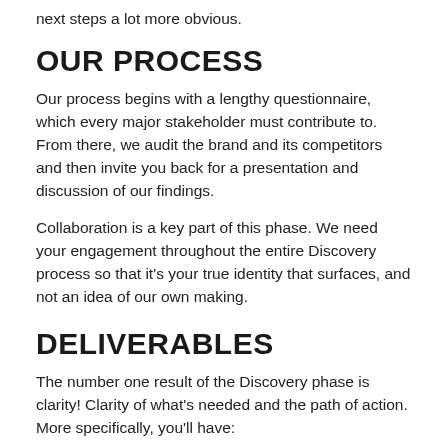next steps a lot more obvious.
OUR PROCESS
Our process begins with a lengthy questionnaire, which every major stakeholder must contribute to. From there, we audit the brand and its competitors and then invite you back for a presentation and discussion of our findings.
Collaboration is a key part of this phase. We need your engagement throughout the entire Discovery process so that it's your true identity that surfaces, and not an idea of our own making.
DELIVERABLES
The number one result of the Discovery phase is clarity! Clarity of what's needed and the path of action. More specifically, you'll have: